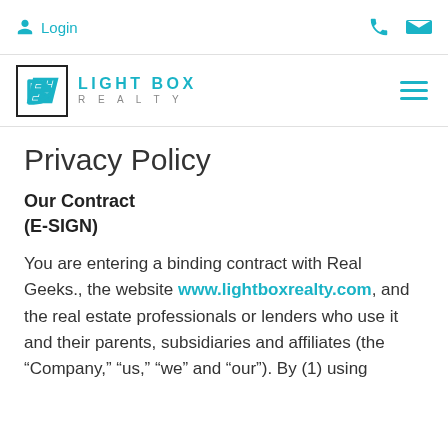Login | [phone icon] [mail icon]
[Figure (logo): Light Box Realty logo with stylized LB in a square box and company name]
Privacy Policy
Our Contract
(E-SIGN)
You are entering a binding contract with Real Geeks., the website www.lightboxrealty.com, and the real estate professionals or lenders who use it and their parents, subsidiaries and affiliates (the “Company,” “us,” “we” and “our”). By (1) using